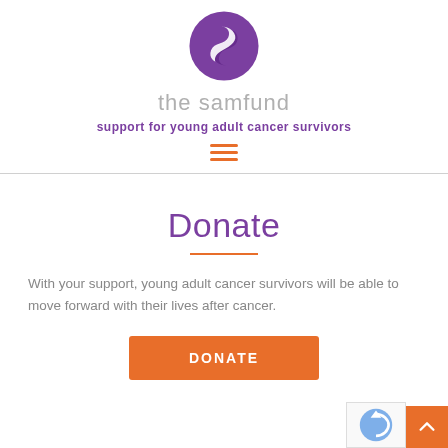[Figure (logo): The Samfund logo: purple circular emblem with an S-shaped swoosh design]
the samfund
support for young adult cancer survivors
[Figure (other): Hamburger menu icon with three orange horizontal bars]
Donate
With your support, young adult cancer survivors will be able to move forward with their lives after cancer.
[Figure (other): Orange DONATE button]